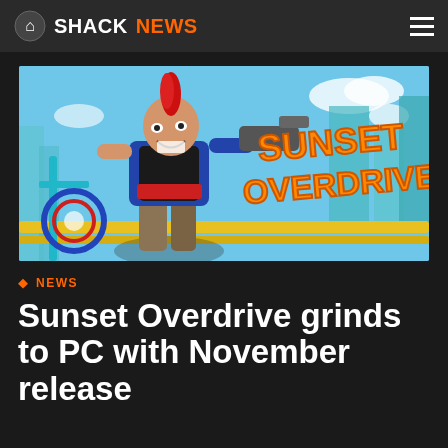SHACKNEWS
[Figure (illustration): Sunset Overdrive game key art showing a punk character with red mohawk holding a gun, with the Sunset Overdrive logo in orange graffiti-style lettering, set against a colorful cartoon city backdrop]
NEWS
Sunset Overdrive grinds to PC with November release